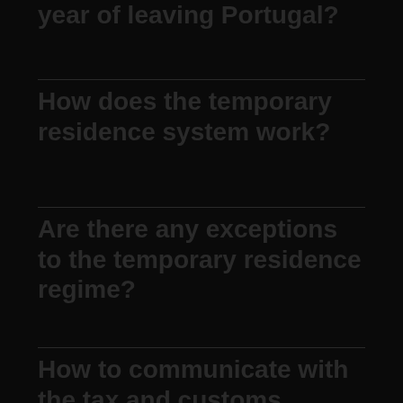year of leaving Portugal?
How does the temporary residence system work?
Are there any exceptions to the temporary residence regime?
How to communicate with the tax and customs authority?